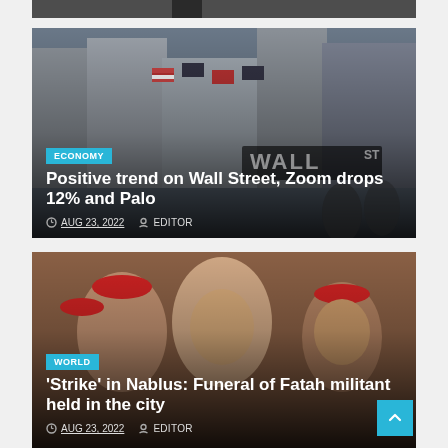[Figure (photo): Partial top of a news article card, cropped at top of page — dark image partially visible]
[Figure (photo): Wall Street scene with American flags and NYSE signage, used as background for Economy article card]
ECONOMY
Positive trend on Wall Street, Zoom drops 12% and Palo
AUG 23, 2022
EDITOR
[Figure (photo): Palestinian military funeral scene — men in red berets carrying a body draped in flag, used as background for World article card]
WORLD
'Strike' in Nablus: Funeral of Fatah militant held in the city
AUG 23, 2022
EDITOR